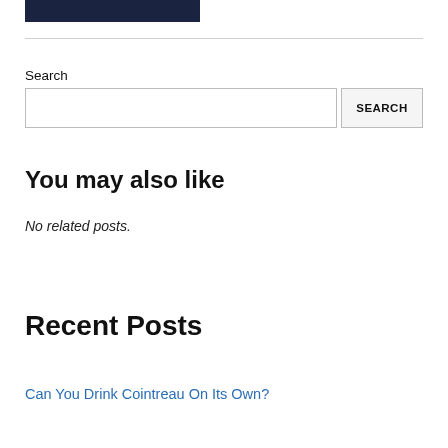[Figure (logo): Dark navy/black rectangular logo bar at top left]
Search
[Figure (other): Search input field with SEARCH button]
You may also like
No related posts.
Recent Posts
Can You Drink Cointreau On Its Own?